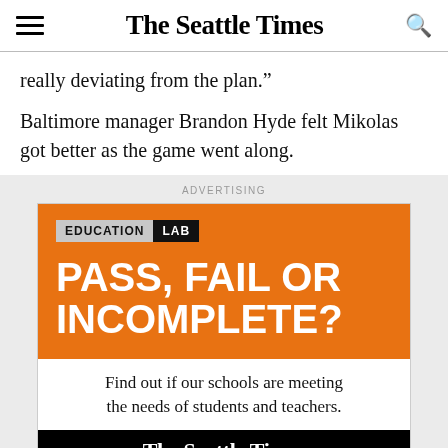The Seattle Times
really deviating from the plan.”
Baltimore manager Brandon Hyde felt Mikolas got better as the game went along.
ADVERTISING
[Figure (illustration): Advertisement for The Seattle Times Education Lab featuring orange background with 'EDUCATION LAB' logo badge, bold white text reading 'PASS, FAIL OR INCOMPLETE?', white section with text 'Find out if our schools are meeting the needs of students and teachers.', and black footer with The Seattle Times masthead in blackletter font.]